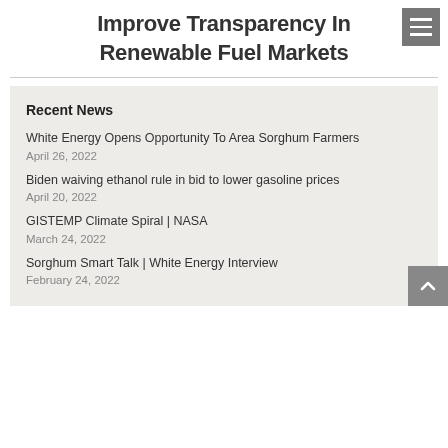Improve Transparency In Renewable Fuel Markets
Recent News
White Energy Opens Opportunity To Area Sorghum Farmers
April 26, 2022
Biden waiving ethanol rule in bid to lower gasoline prices
April 20, 2022
GISTEMP Climate Spiral | NASA
March 24, 2022
Sorghum Smart Talk | White Energy Interview
February 24, 2022